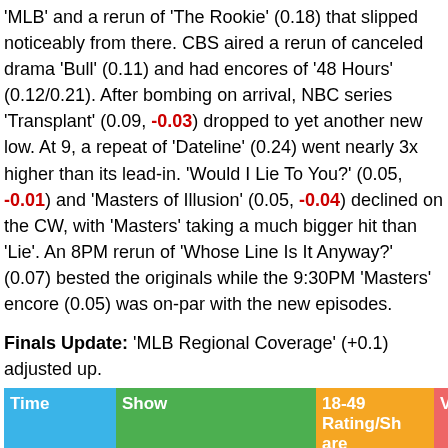'MLB' and a rerun of 'The Rookie' (0.18) that slipped noticeably from there. CBS aired a rerun of canceled drama 'Bull' (0.11) and had encores of '48 Hours' (0.12/0.21). After bombing on arrival, NBC series 'Transplant' (0.09, -0.03) dropped to yet another new low. At 9, a repeat of 'Dateline' (0.24) went nearly 3x higher than its lead-in. 'Would I Lie To You?' (0.05, -0.01) and 'Masters of Illusion' (0.05, -0.04) declined on the CW, with 'Masters' taking a much bigger hit than 'Lie'. An 8PM rerun of 'Whose Line Is It Anyway?' (0.07) bested the originals while the 9:30PM 'Masters' encore (0.05) was on-par with the new episodes.
Finals Update: 'MLB Regional Coverage' (+0.1) adjusted up.
| Time | Show | 18-49 Rating/Share | Viewers (mil) | Network |
| --- | --- | --- | --- | --- |